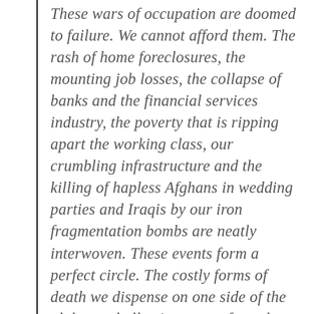These wars of occupation are doomed to failure. We cannot afford them. The rash of home foreclosures, the mounting job losses, the collapse of banks and the financial services industry, the poverty that is ripping apart the working class, our crumbling infrastructure and the killing of hapless Afghans in wedding parties and Iraqis by our iron fragmentation bombs are neatly interwoven. These events form a perfect circle. The costly forms of death we dispense on one side of the globe are hollowing us out from the inside at home.